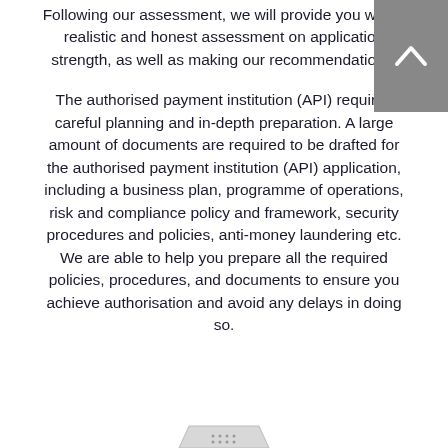Following our assessment, we will provide you with a realistic and honest assessment on application strength, as well as making our recommendations.
The authorised payment institution (API) requires careful planning and in-depth preparation. A large amount of documents are required to be drafted for the authorised payment institution (API) application, including a business plan, programme of operations, risk and compliance policy and framework, security procedures and policies, anti-money laundering etc. We are able to help you prepare all the required policies, procedures, and documents to ensure you achieve authorisation and avoid any delays in doing so.